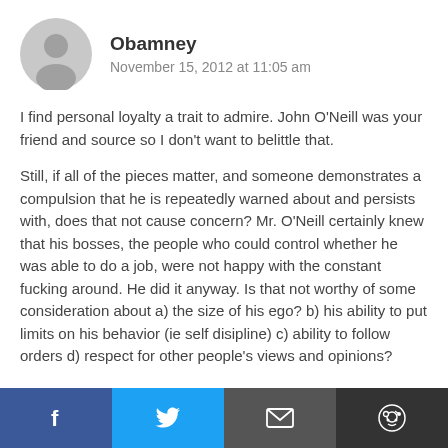Obamney
November 15, 2012 at 11:05 am
I find personal loyalty a trait to admire. John O'Neill was your friend and source so I don't want to belittle that.
Still, if all of the pieces matter, and someone demonstrates a compulsion that he is repeatedly warned about and persists with, does that not cause concern? Mr. O'Neill certainly knew that his bosses, the people who could control whether he was able to do a job, were not happy with the constant fucking around. He did it anyway. Is that not worthy of some consideration about a) the size of his ego? b) his ability to put limits on his behavior (ie self disipline) c) ability to follow orders d) respect for other people's views and opinions?